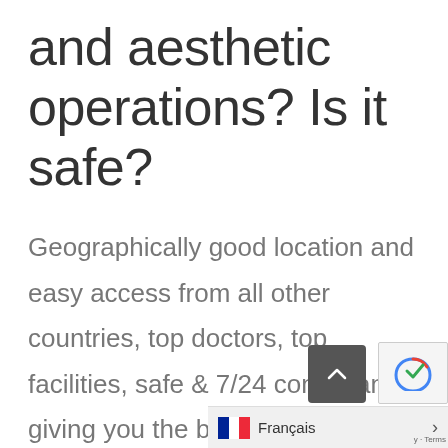and aesthetic operations? Is it safe?
Geographically good location and easy access from all other countries, top doctors, top facilities, safe & 7/24 consultants giving you the best services at affordable rate.
There area many innovative aesthetic centers  where professional plastic surgeons are skillful & arti